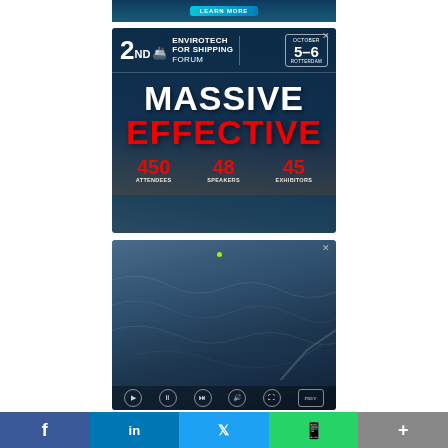[Figure (illustration): Top advertisement banner with teal/blue gradient background and LEARN MORE button]
[Figure (illustration): Envirotech for Shipping Forum advertisement: 2nd forum, October 5-6, Rotterdam. Text: MASSIVE EFFECTIVE. Stats: 450 Attendees, 48 Speakers, 45 Exhibitors. Dark navy background with ship imagery.]
[Figure (photo): Ocean/sea advertisement showing rough ocean waves from aerial view with a person in water and boat wake. Playback controls at bottom.]
Facebook | LinkedIn | Twitter | WhatsApp | More